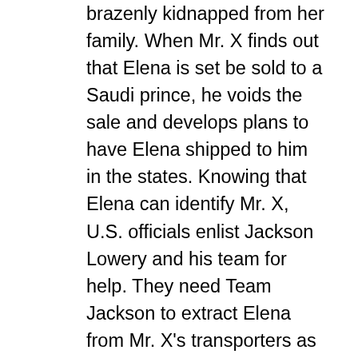brazenly kidnapped from her family. When Mr. X finds out that Elena is set be sold to a Saudi prince, he voids the sale and develops plans to have Elena shipped to him in the states. Knowing that Elena can identify Mr. X, U.S. officials enlist Jackson Lowery and his team for help. They need Team Jackson to extract Elena from Mr. X's transporters as soon as they enter the United States. The problem is that neither the C.I.A. or F.B.I. are sure where Elena's kidnappers will enter into the country. With no time to waste, Jackson and his team must find the transporters' U.S. entry point, rescue Elena and get to Mr. X. The result is a rip-roaring, pressure filled game of chase between Jackson Lowery and those responsible for the most elaborate sex trafficking ring in the world. The mission is clear: In order to stop the growth of one of the most destructive practices known to modern human civilization, Jackson Lowery and his team must prevail.